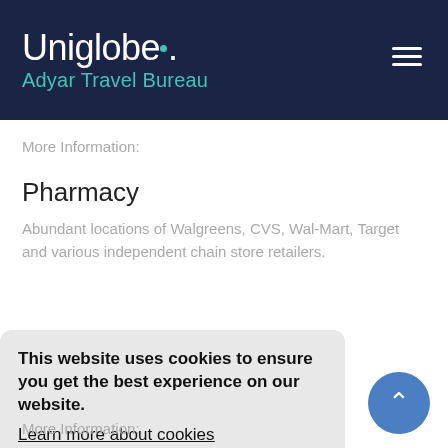Uniglobe. Adyar Travel Bureau
More Information:
Pharmacy
Abundant locations of Walgreens, CVS, Wal-Mart, Target and various independent chain store retailers.
This website uses cookies to ensure you get the best experience on our website. Learn more about cookies Agree
More Information: